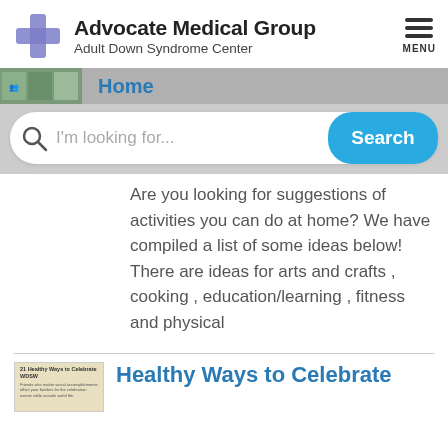Advocate Medical Group — Adult Down Syndrome Center
Home
Are you looking for suggestions of activities you can do at home? We have compiled a list of some ideas below! There are ideas for arts and crafts , cooking , education/learning , fitness and physical
Healthy Ways to Celebrate